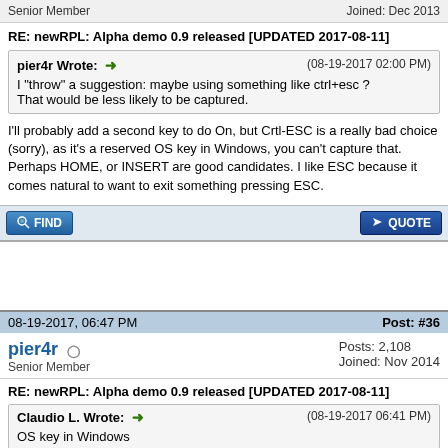Senior Member
Joined: Dec 2013
RE: newRPL: Alpha demo 0.9 released [UPDATED 2017-08-11]
pier4r Wrote: → (08-19-2017 02:00 PM)
I "throw" a suggestion: maybe using something like ctrl+esc ?
That would be less likely to be captured.
I'll probably add a second key to do On, but Crtl-ESC is a really bad choice (sorry), as it's a reserved OS key in Windows, you can't capture that. Perhaps HOME, or INSERT are good candidates. I like ESC because it comes natural to want to exit something pressing ESC.
08-19-2017, 06:47 PM
Post: #36
pier4r
Senior Member
Posts: 2,108
Joined: Nov 2014
RE: newRPL: Alpha demo 0.9 released [UPDATED 2017-08-11]
Claudio L. Wrote: → (08-19-2017 06:41 PM)
OS key in Windows